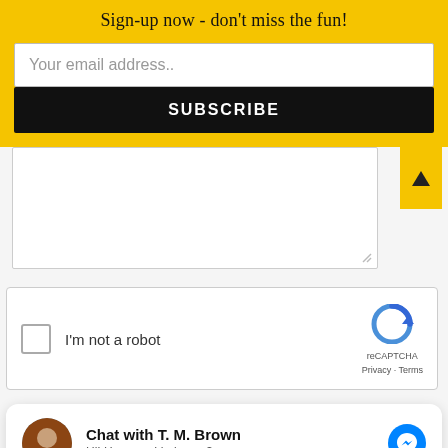Sign-up now - don't miss the fun!
Your email address..
SUBSCRIBE
[Figure (screenshot): Text area input box with resize handle]
[Figure (screenshot): reCAPTCHA widget with checkbox 'I'm not a robot' and Google reCAPTCHA logo with Privacy and Terms links]
[Figure (screenshot): Facebook Messenger chat widget showing 'Chat with T. M. Brown' and 'Hi! How can I help you?' with avatar and messenger icon]